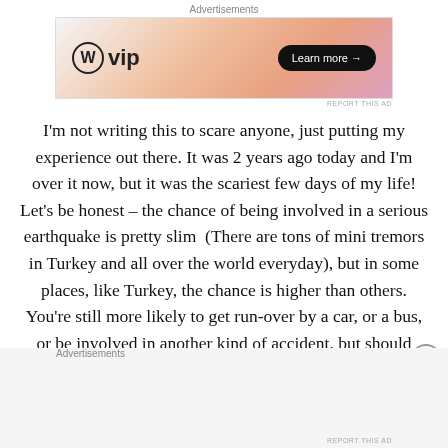Advertisements
[Figure (illustration): WordPress VIP advertisement banner with orange/pink gradient background and 'Learn more →' button]
REPORT THIS AD
I'm not writing this to scare anyone, just putting my experience out there. It was 2 years ago today and I'm over it now, but it was the scariest few days of my life! Let's be honest – the chance of being involved in a serious earthquake is pretty slim  (There are tons of mini tremors in Turkey and all over the world everyday), but in some places, like Turkey, the chance is higher than others. You're still more likely to get run-over by a car, or a bus, or be involved in another kind of accident, but should always be prepared and have a plan in place  just in case,
Advertisements
REPORT THIS AD